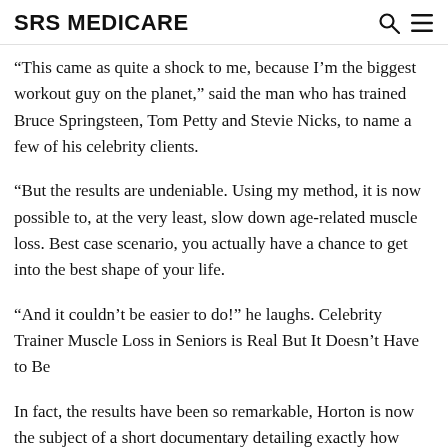SRS MEDICARE
“This came as quite a shock to me, because I’m the biggest workout guy on the planet,” said the man who has trained Bruce Springsteen, Tom Petty and Stevie Nicks, to name a few of his celebrity clients.
“But the results are undeniable. Using my method, it is now possible to, at the very least, slow down age-related muscle loss. Best case scenario, you actually have a chance to get into the best shape of your life.
“And it couldn’t be easier to do!” he laughs. Celebrity Trainer Muscle Loss in Seniors is Real But It Doesn’t Have to Be
In fact, the results have been so remarkable, Horton is now the subject of a short documentary detailing exactly how